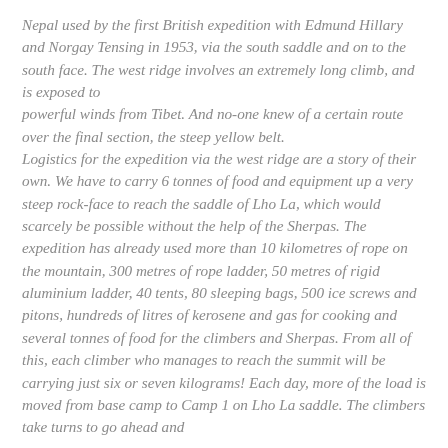Nepal used by the first British expedition with Edmund Hillary and Norgay Tensing in 1953, via the south saddle and on to the south face. The west ridge involves an extremely long climb, and is exposed to powerful winds from Tibet. And no-one knew of a certain route over the final section, the steep yellow belt. Logistics for the expedition via the west ridge are a story of their own. We have to carry 6 tonnes of food and equipment up a very steep rock-face to reach the saddle of Lho La, which would scarcely be possible without the help of the Sherpas. The expedition has already used more than 10 kilometres of rope on the mountain, 300 metres of rope ladder, 50 metres of rigid aluminium ladder, 40 tents, 80 sleeping bags, 500 ice screws and pitons, hundreds of litres of kerosene and gas for cooking and several tonnes of food for the climbers and Sherpas. From all of this, each climber who manages to reach the summit will be carrying just six or seven kilograms! Each day, more of the load is moved from base camp to Camp 1 on Lho La saddle. The climbers take turns to go ahead and